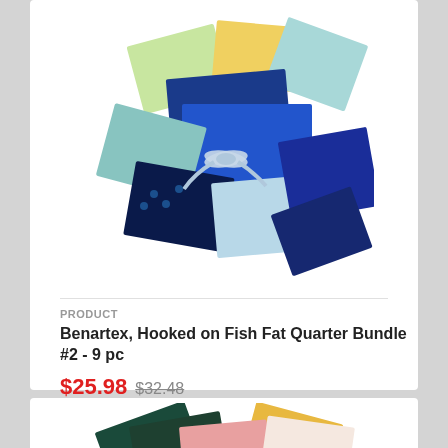[Figure (photo): Fat quarter fabric bundle with blue, teal, green, and gold fabrics tied with a ribbon, featuring turtle and fish patterns]
PRODUCT
Benartex, Hooked on Fish Fat Quarter Bundle #2 - 9 pc
$25.98 $32.48
[Figure (photo): Fat quarter fabric bundle with dark green, gold, pink, and floral print fabrics fanned out]